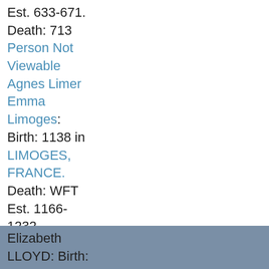Est. 633-671.
Death: 713
Person Not Viewable
Agnes Limer
Emma Limoges: Birth: 1138 in LIMOGES, FRANCE. Death: WFT Est. 1166-1232
Person Not Viewable
Person Not Viewable
Elizabeth LLOYD: Birth: